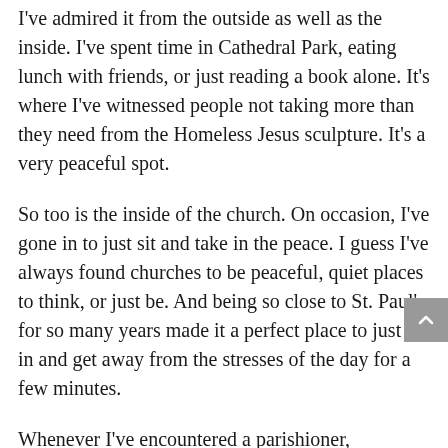I've admired it from the outside as well as the inside. I've spent time in Cathedral Park, eating lunch with friends, or just reading a book alone. It's where I've witnessed people not taking more than they need from the Homeless Jesus sculpture. It's a very peaceful spot.
So too is the inside of the church. On occasion, I've gone in to just sit and take in the peace. I guess I've always found churches to be peaceful, quiet places to think, or just be. And being so close to St. Paul's for so many years made it a perfect place to just go in and get away from the stresses of the day for a few minutes.
Whenever I've encountered a parishioner,